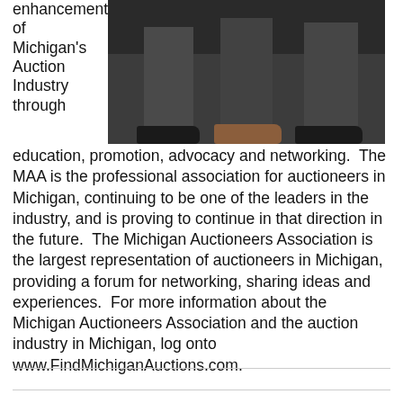enhancement of Michigan's Auction Industry through
[Figure (photo): Photo showing the lower bodies and shoes of three people wearing dark dress pants and dress shoes against a dark curtain background.]
education, promotion, advocacy and networking. The MAA is the professional association for auctioneers in Michigan, continuing to be one of the leaders in the industry, and is proving to continue in that direction in the future. The Michigan Auctioneers Association is the largest representation of auctioneers in Michigan, providing a forum for networking, sharing ideas and experiences. For more information about the Michigan Auctioneers Association and the auction industry in Michigan, log onto www.FindMichiganAuctions.com.